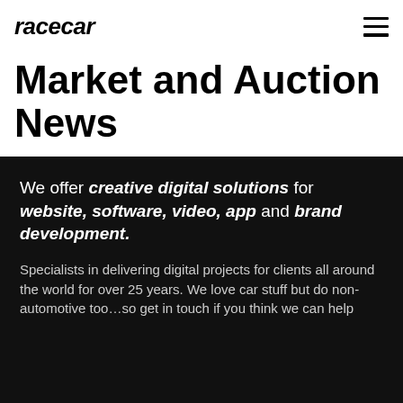racecar
Market and Auction News
We offer creative digital solutions for website, software, video, app and brand development.
Specialists in delivering digital projects for clients all around the world for over 25 years. We love car stuff but do non-automotive too…so get in touch if you think we can help